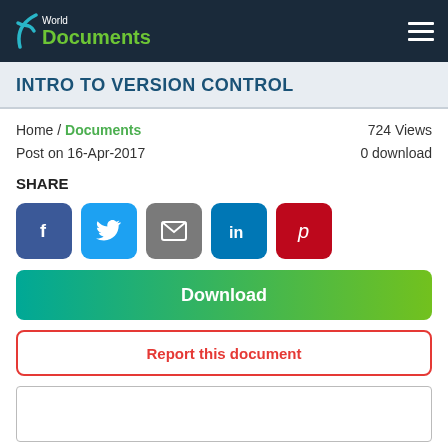World Documents
INTRO TO VERSION CONTROL
Home / Documents    724 Views
Post on 16-Apr-2017    0 download
SHARE
[Figure (infographic): Social share buttons: Facebook, Twitter, Email, LinkedIn, Pinterest]
Download
Report this document
[Figure (screenshot): Document preview area (blank white box)]